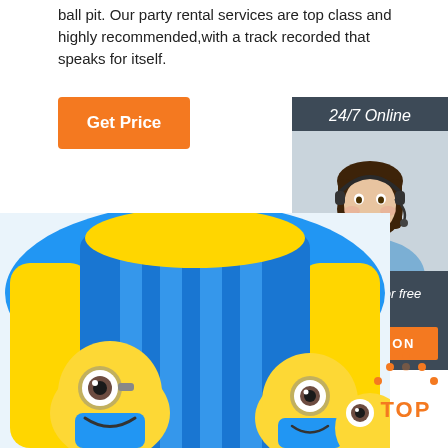ball pit. Our party rental services are top class and highly recommended,with a track recorded that speaks for itself.
Get Price
[Figure (infographic): 24/7 Online support widget showing a smiling woman with headset, with 'Click here for free chat!' text and an orange QUOTATION button, on dark slate background]
[Figure (photo): Inflatable bounce house/slide with Minion characters (yellow with goggles), blue and yellow colors]
[Figure (infographic): Orange 'TOP' text with orange dot arrow/chevron icon above it]